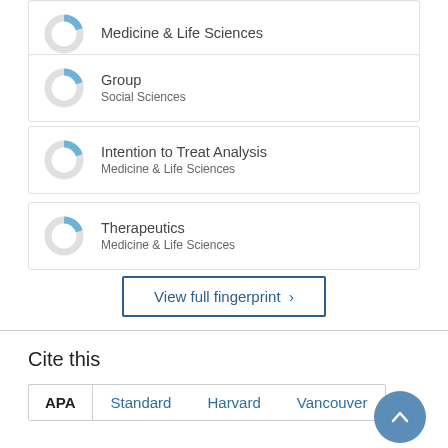[Figure (donut-chart): Donut chart icon for Medicine & Life Sciences (partial blue arc, ~20%)]
Medicine & Life Sciences
[Figure (donut-chart): Donut chart icon for Group - Social Sciences (partial blue arc, ~20%)]
Group
Social Sciences
[Figure (donut-chart): Donut chart icon for Intention to Treat Analysis - Medicine & Life Sciences (partial blue arc, ~20%)]
Intention to Treat Analysis
Medicine & Life Sciences
[Figure (donut-chart): Donut chart icon for Therapeutics - Medicine & Life Sciences (partial blue arc, ~20%)]
Therapeutics
Medicine & Life Sciences
View full fingerprint >
Cite this
APA    Standard    Harvard    Vancouver